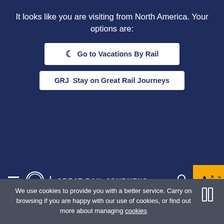It looks like you are visiting from North America. Your options are:
Go to Vacations By Rail
GRJ Stay on Great Rail Journeys
GREAT RAIL JOURNEYS
Tour Search
← Hotels
We use cookies to provide you with a better service. Carry on browsing if you are happy with our use of cookies, or find out more about managing cookies